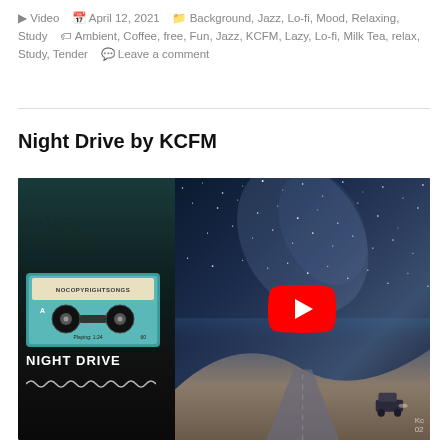▶ Video  📅 April 12, 2021  🗂 Background, Jazz, Lo-fi, Mood, Relaxing, Study  🏷 Ambient, Coffee, free, Fun, Jazz, KCFM, Lazy, Lo-fi, Milk Tea, relax, Study, Tender  💬 Leave a comment
Night Drive by KCFM
[Figure (screenshot): YouTube video thumbnail for 'Night Drive by KCFM - Cinemat...' showing a split image: left side has a cassette tape labeled NOCOPYRIGHTSONGS with 'NIGHT DRIVE' text and birds against a teal/dark background; right side shows a starry night sky over a desert road with a car, with a YouTube play button in the center.]